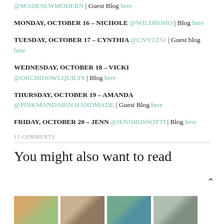@MADESEWMODERN | Guest Blog here
MONDAY, OCTOBER 16 – NICHOLE @WILDBOHO | Blog here
TUESDAY, OCTOBER 17 – CYNTHIA @CNYTZ51 | Guest blog here
WEDNESDAY, OCTOBER 18 – VICKI @ORCHIDOWLQUILTS | Blog here
THURSDAY, OCTOBER 19 – AMANDA @PINKMANDARIN.HANDMADE | Guest Blog here
FRIDAY, OCTOBER 20 – JENN @JENNROSSOTTI | Blog here
12 COMMENTS
You might also want to read
[Figure (photo): Four small thumbnail images arranged in a row at the bottom of the page]